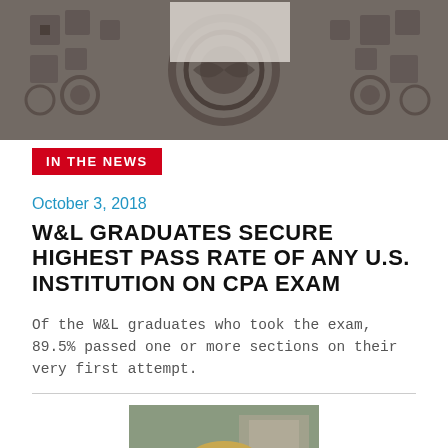[Figure (photo): Top decorative architectural image showing ornate carved stonework with circular and geometric patterns in dark tones]
IN THE NEWS
October 3, 2018
W&L GRADUATES SECURE HIGHEST PASS RATE OF ANY U.S. INSTITUTION ON CPA EXAM
Of the W&L graduates who took the exam, 89.5% passed one or more sections on their very first attempt.
[Figure (photo): Portrait photo of a woman with shoulder-length blonde hair wearing a light blue blazer, smiling outdoors with blurred campus building in background]